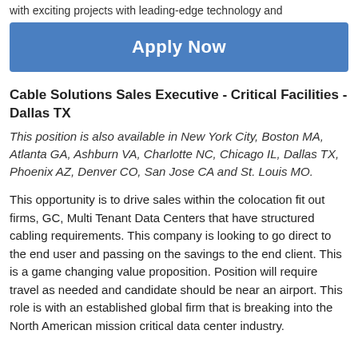with exciting projects with leading-edge technology and
Apply Now
Cable Solutions Sales Executive - Critical Facilities - Dallas TX
This position is also available in New York City, Boston MA, Atlanta GA, Ashburn VA, Charlotte NC, Chicago IL, Dallas TX, Phoenix AZ, Denver CO, San Jose CA and St. Louis MO.
This opportunity is to drive sales within the colocation fit out firms, GC, Multi Tenant Data Centers that have structured cabling requirements. This company is looking to go direct to the end user and passing on the savings to the end client. This is a game changing value proposition. Position will require travel as needed and candidate should be near an airport. This role is with an established global firm that is breaking into the North American mission critical data center industry.